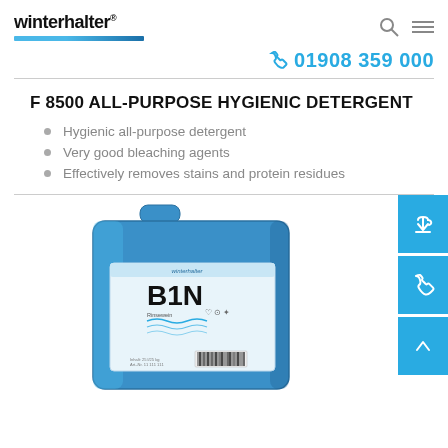winterhalter®
01908 359 000
F 8500 ALL-PURPOSE HYGIENIC DETERGENT
Hygienic all-purpose detergent
Very good bleaching agents
Effectively removes stains and protein residues
[Figure (photo): Blue plastic jerrycan/canister with Winterhalter B1N product label showing dishwashing symbols and barcode]